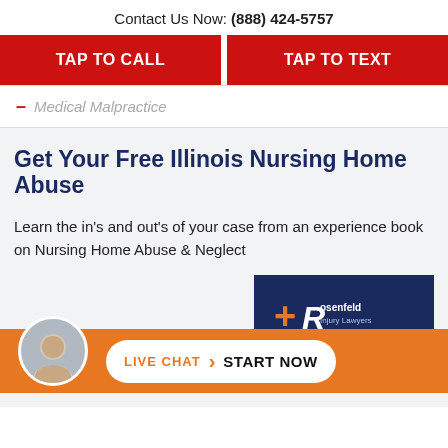Contact Us Now: (888) 424-5757
TAP TO CALL
TAP TO TEXT
Medical Malpractice
Get Your Free Illinois Nursing Home Abuse
Learn the in's and out's of your case from an experience book on Nursing Home Abuse & Neglect
[Figure (logo): Rosenfeld Injury Lawyers logo on dark blue background]
LIVE CHAT START NOW